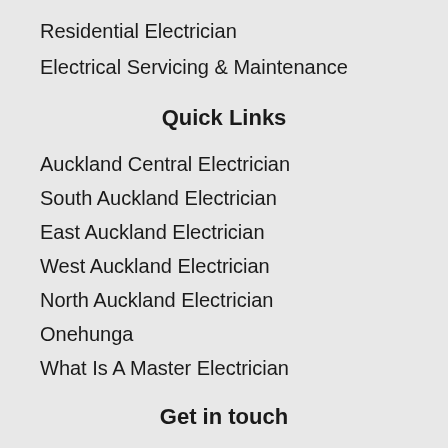Residential Electrician
Electrical Servicing & Maintenance
Quick Links
Auckland Central Electrician
South Auckland Electrician
East Auckland Electrician
West Auckland Electrician
North Auckland Electrician
Onehunga
What Is A Master Electrician
Get in touch
022 644 2628